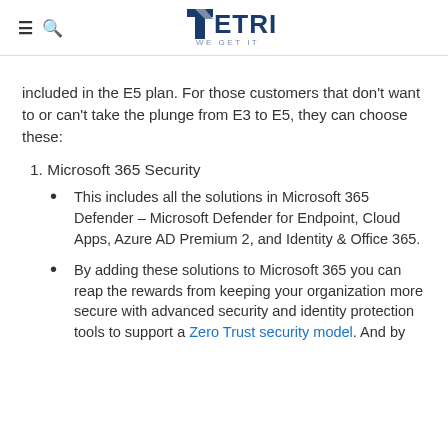PETRI — WE GET IT
included in the E5 plan. For those customers that don't want to or can't take the plunge from E3 to E5, they can choose these:
1. Microsoft 365 Security
This includes all the solutions in Microsoft 365 Defender – Microsoft Defender for Endpoint, Cloud Apps, Azure AD Premium 2, and Identity & Office 365.
By adding these solutions to Microsoft 365 you can reap the rewards from keeping your organization more secure with advanced security and identity protection tools to support a Zero Trust security model. And by